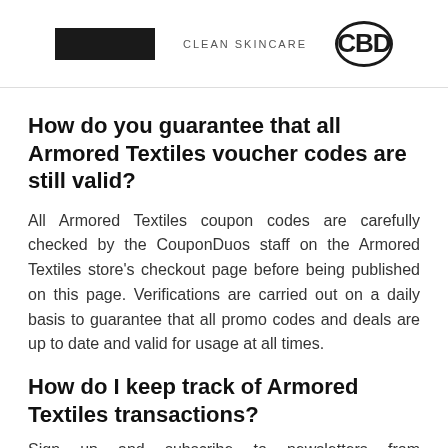[Figure (logo): Three logos in a top banner: a black rectangle logo, text reading 'CLEAN SKINCARE', and a circular CBD logo]
How do you guarantee that all Armored Textiles voucher codes are still valid?
All Armored Textiles coupon codes are carefully checked by the CouponDuos staff on the Armored Textiles store's checkout page before being published on this page. Verifications are carried out on a daily basis to guarantee that all promo codes and deals are up to date and valid for usage at all times.
How do I keep track of Armored Textiles transactions?
Sign up and subscribe to newsletters from CouponDuos. We'll send you the most recent and popular discount